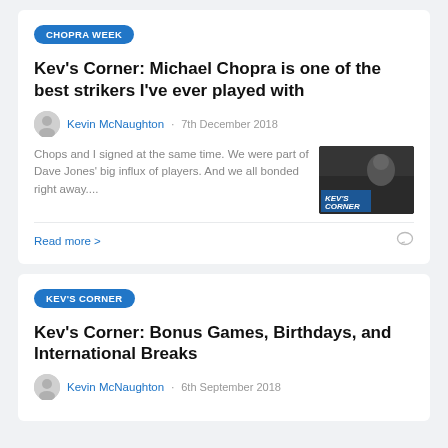CHOPRA WEEK
Kev's Corner: Michael Chopra is one of the best strikers I've ever played with
Kevin McNaughton · 7th December 2018
Chops and I signed at the same time. We were part of Dave Jones' big influx of players. And we all bonded right away....
[Figure (photo): Thumbnail image showing a man with text overlay reading KEV'S CORNER]
Read more >
KEV'S CORNER
Kev's Corner: Bonus Games, Birthdays, and International Breaks
Kevin McNaughton · 6th September 2018